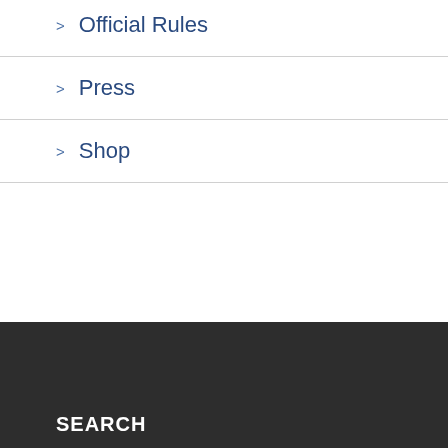> Official Rules
> Press
> Shop
SEARCH